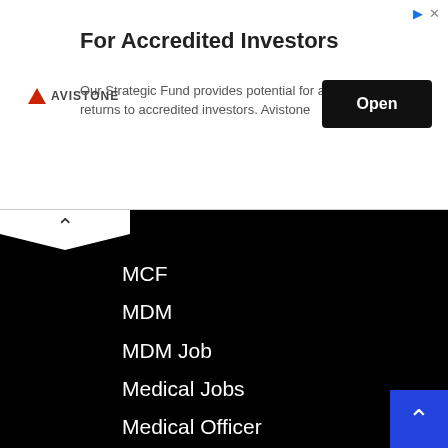[Figure (screenshot): Advertisement banner for Avistone: For Accredited Investors. Our Strategic Fund provides potential for attractive returns to accredited investors. Avistone. Open button.]
MCF
MDM
MDM Job
Medical Jobs
Medical Officer
Mehsana
MERIT LIST
MGVCL
Mid Day Milk
Midday Meal Scheme
Ministry of Defence
Ministry of Shipping